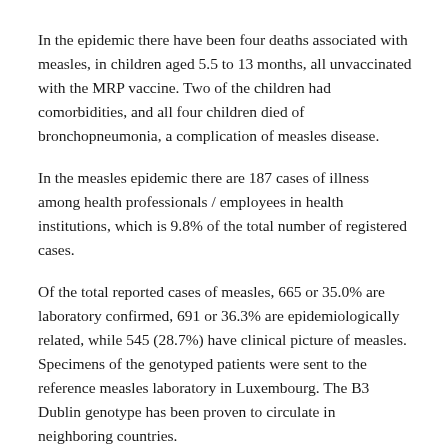In the epidemic there have been four deaths associated with measles, in children aged 5.5 to 13 months, all unvaccinated with the MRP vaccine. Two of the children had comorbidities, and all four children died of bronchopneumonia, a complication of measles disease.
In the measles epidemic there are 187 cases of illness among health professionals / employees in health institutions, which is 9.8% of the total number of registered cases.
Of the total reported cases of measles, 665 or 35.0% are laboratory confirmed, 691 or 36.3% are epidemiologically related, while 545 (28.7%) have clinical picture of measles. Specimens of the genotyped patients were sent to the reference measles laboratory in Luxembourg. The B3 Dublin genotype has been proven to circulate in neighboring countries.